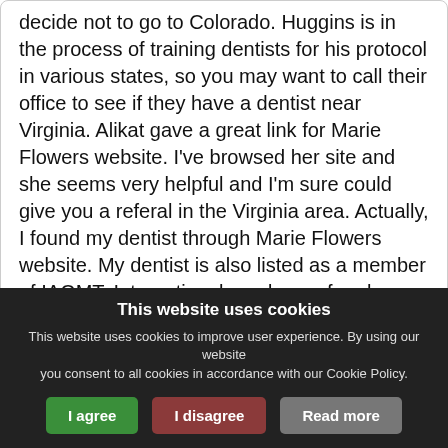decide not to go to Colorado. Huggins is in the process of training dentists for his protocol in various states, so you may want to call their office to see if they have a dentist near Virginia. Alikat gave a great link for Marie Flowers website. I've browsed her site and she seems very helpful and I'm sure could give you a referal in the Virginia area. Actually, I found my dentist through Marie Flowers website. My dentist is also listed as a member of IAOMT. International academy of oral medicine a ... [retrieve this message]
This website uses cookies
This website uses cookies to improve user experience. By using our website you consent to all cookies in accordance with our Cookie Policy.
I agree | I disagree | Read more